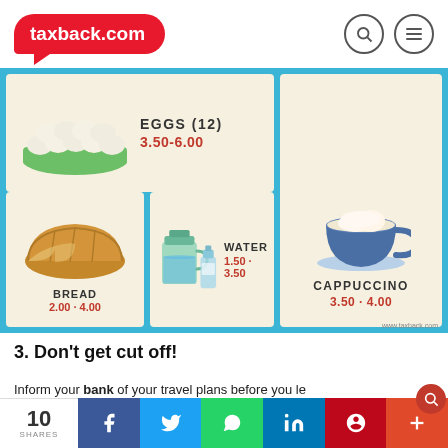taxback.com
[Figure (infographic): Food price infographic showing: Eggs (12) 3.50-6.00, Cappuccino 3.50-4.00, Bread 2.00-4.00, Water 1.50-3.50]
3. Don't get cut off!
Inform your bank of your travel plans before you le... You don't want them to cancel your credit cards w...
10 SHARES | Facebook | Twitter | WhatsApp | LinkedIn | Pinterest | More